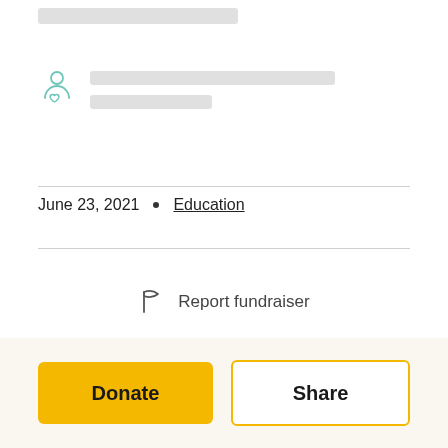[Figure (illustration): User/beneficiary icon (person with heart) and placeholder loading bars for user name and subtitle]
June 23, 2021  •  Education
Report fundraiser
Donate
Share